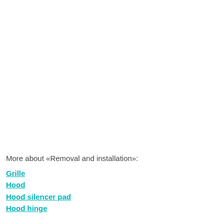More about «Removal and installation»:
Grille
Hood
Hood silencer pad
Hood hinge